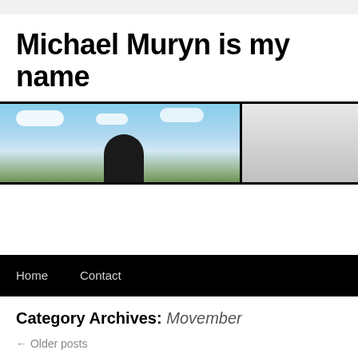Michael Muryn is my name
[Figure (photo): Website header banner image with blue sky, white clouds, and a dark figure silhouette, split into two sections by a vertical border]
Home   Contact
Category Archives: Movember
← Older posts